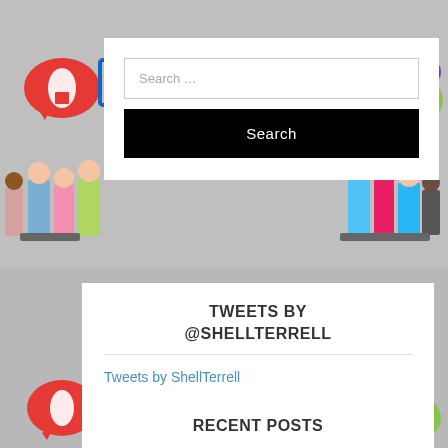[Figure (illustration): Colorful speech bubbles and icons background with children standing at bottom, educational theme with soccer ball, letter A, robot, and other icons in speech bubbles]
Search ...
Search
TWEETS BY @SHELLTERRELL
Tweets by ShellTerrell
RECENT POSTS